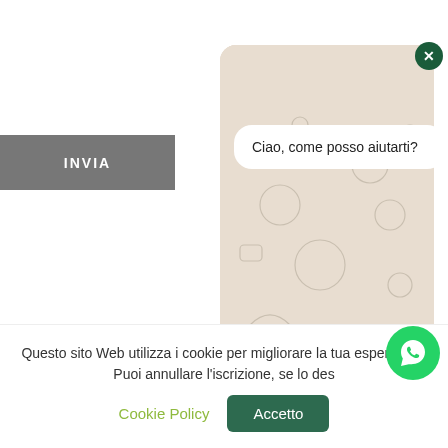INVIA
< HOW T
CHAPTER X ... E SU
[Figure (screenshot): WhatsApp chat popup overlay with patterned beige background, showing a message bubble 'Ciao, come posso aiutarti?', a close button (X) in dark green, and an input field with a green send button]
Questo sito Web utilizza i cookie per migliorare la tua esperienza. Puoi annullare l'iscrizione, se lo des
Cookie Policy
Accetto